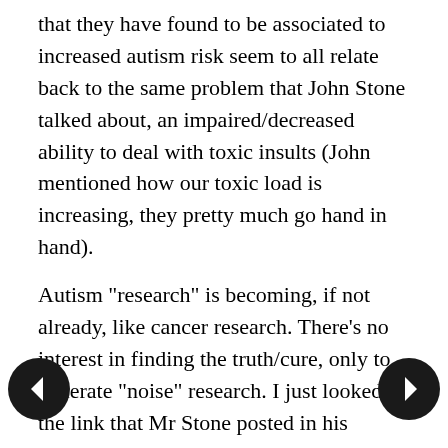that they have found to be associated to increased autism risk seem to all relate back to the same problem that John Stone talked about, an impaired/decreased ability to deal with toxic insults (John mentioned how our toxic load is increasing, they pretty much go hand in hand).
Autism "research" is becoming, if not already, like cancer research. There's no interest in finding the truth/cure, only to generate "noise" research. I just looked at the link that Mr Stone posted in his comment, and I'm completely astounded to find that 10 years ago, the government budgets almost half a billion dollars a year on human genome research.
The link here says "The Human G...